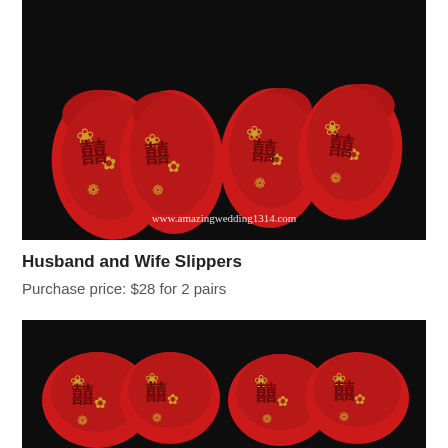[Figure (photo): Four red Chinese brocade slippers with gold floral pattern and Chinese characters on a black background. Watermark: www.amazingwedding1314.com]
Husband and Wife Slippers
Purchase price: $28 for 2 pairs
[Figure (photo): Close-up view of four red Chinese brocade slippers with gold floral pattern and Chinese characters on black background, showing toe area from above.]